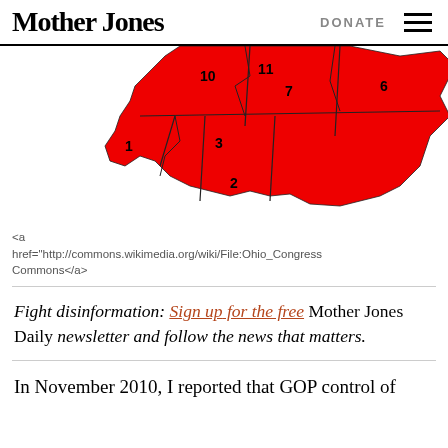Mother Jones | DONATE
[Figure (map): Partial map of Ohio congressional districts shown in red, with district numbers 1, 2, 3, 6, 7, 10, 11 visible.]
<a href="http://commons.wikimedia.org/wiki/File:Ohio_Congress Commons</a>
Fight disinformation: Sign up for the free Mother Jones Daily newsletter and follow the news that matters.
In November 2010, I reported that GOP control of